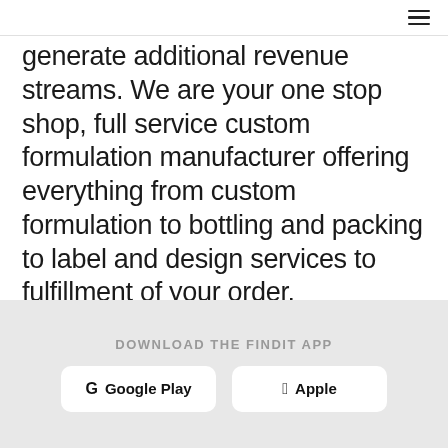≡
generate additional revenue streams. We are your one stop shop, full service custom formulation manufacturer offering everything from custom formulation to bottling and packing to label and design services to fulfillment of your order.
Thanks to our years of experience in the industry, we have become the
DOWNLOAD THE FINDIT APP  Google Play  Apple